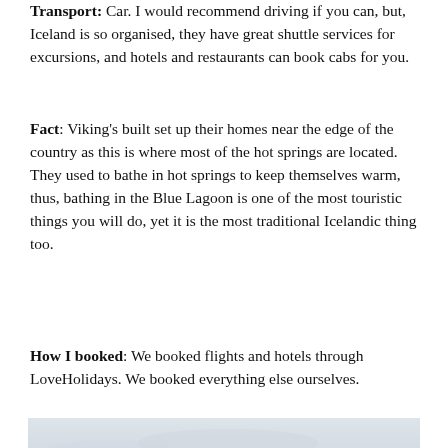Transport: Car. I would recommend driving if you can, but, Iceland is so organised, they have great shuttle services for excursions, and hotels and restaurants can book cabs for you.
Fact: Viking's built set up their homes near the edge of the country as this is where most of the hot springs are located. They used to bathe in hot springs to keep themselves warm, thus, bathing in the Blue Lagoon is one of the most touristic things you will do, yet it is the most traditional Icelandic thing too.
How I booked: We booked flights and hotels through LoveHolidays. We booked everything else ourselves.
[Figure (photo): Black and white landscape photograph of Icelandic terrain showing rocky lava fields and rolling hills under an overcast sky]